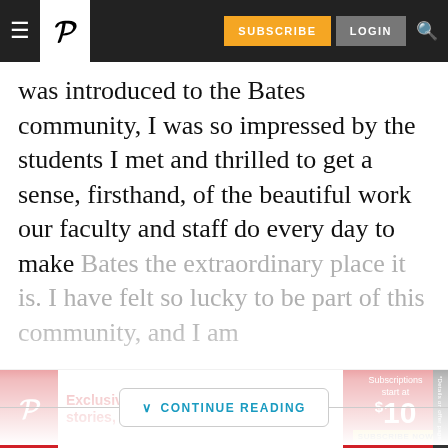P [logo] | SUBSCRIBE | LOGIN | [search]
was introduced to the Bates community, I was so impressed by the students I met and thrilled to get a sense, firsthand, of the beautiful work our faculty and staff do every day to make Bates the extraordinary place it is. I have felt so lucky to be part of this community, and I am
CONTINUE READING
[Figure (other): Play button circle icon]
[Figure (other): Advertisement banner: Exclusive, important stories, 7 days a week. Subscriptions start at $10. Subscribe Now.]